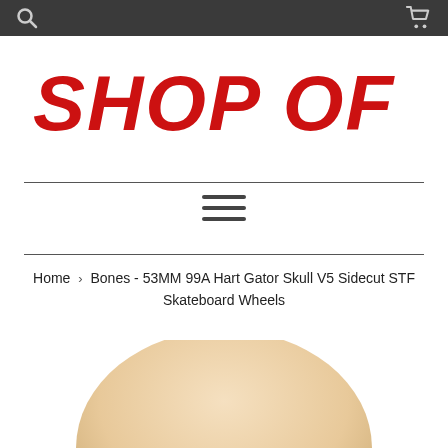[Figure (logo): Shop of Skatan logo in bold red stylized heavy-metal font]
Home › Bones - 53MM 99A Hart Gator Skull V5 Sidecut STF Skateboard Wheels
[Figure (photo): Top portion of a tan/beige skateboard wheel visible at the bottom of the page]